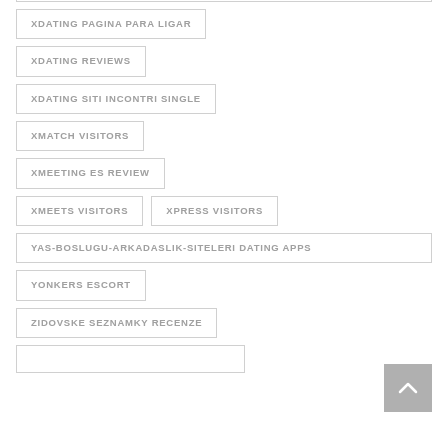XDATING PAGINA PARA LIGAR
XDATING REVIEWS
XDATING SITI INCONTRI SINGLE
XMATCH VISITORS
XMEETING ES REVIEW
XMEETS VISITORS
XPRESS VISITORS
YAS-BOSLUGU-ARKADASLIK-SITELERI DATING APPS
YONKERS ESCORT
ZIDOVSKE SEZNAMKY RECENZE